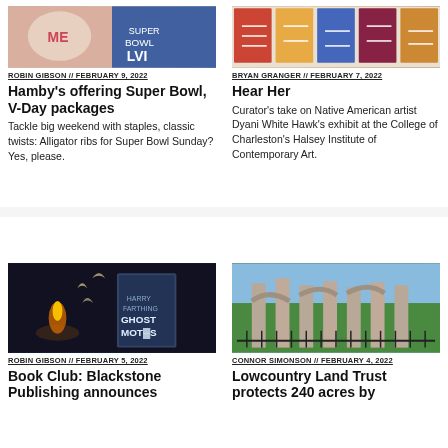[Figure (photo): Top left article image showing Valentine's Day cake with 'ME' text and Super Bowl LVI graphic]
ROBIN GIBSON // FEBRUARY 9, 2022
Hamby's offering Super Bowl, V-Day packages
Tackle big weekend with staples, classic twists: Alligator ribs for Super Bowl Sunday? Yes, please.
[Figure (photo): Top right article image showing Native American textiles or artwork in a grid]
BRYAN GRANGER // FEBRUARY 7, 2022
Hear Her
Curator's take on Native American artist Dyani White Hawk's exhibit at the College of Charleston's Halsey Institute of Contemporary Art.
[Figure (photo): Bottom left article image showing book cover 'Ghost Moths' by Harry Farthing against dark moody background with candles]
ROBIN GIBSON // FEBRUARY 5, 2022
Book Club: Blackstone Publishing announces
[Figure (photo): Bottom right article image showing ruins of an old stone building or church with iron fence]
CONNOR SIMONSON // FEBRUARY 4, 2022
Lowcountry Land Trust protects 240 acres by